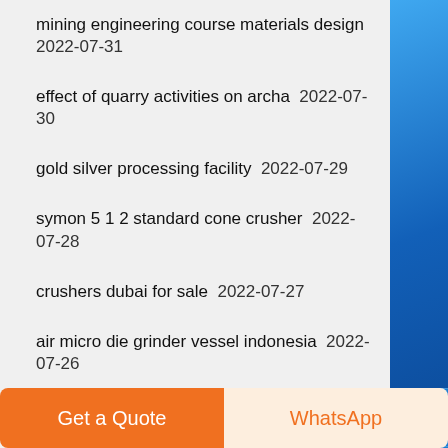mining engineering course materials design  2022-07-31
effect of quarry activities on archa  2022-07-30
gold silver processing facility  2022-07-29
symon 5 1 2 standard cone crusher  2022-07-28
crushers dubai for sale  2022-07-27
air micro die grinder vessel indonesia  2022-07-26
cone crusher drawing of parts in nicaragua  2022-07-25
how much amount required to start cement mill in pakistan  2022-07-24
coltan mining in africa  2022-07-23
extra fine cayenne powder  2022-07-22
degreaserchemical.co.za  2022-07-21